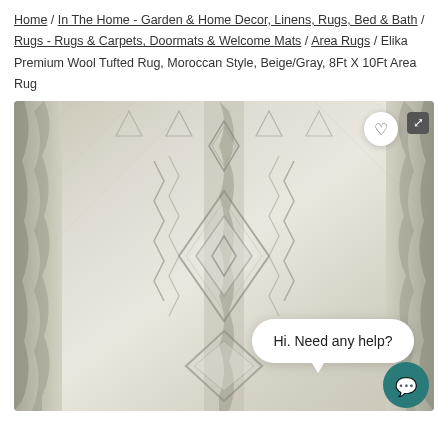Home / In The Home - Garden & Home Decor, Linens, Rugs, Bed & Bath / Rugs - Rugs & Carpets, Doormats & Welcome Mats / Area Rugs / Elika Premium Wool Tufted Rug, Moroccan Style, Beige/Gray, 8Ft X 10Ft Area Rug
[Figure (photo): Close-up photo of a beige and gray Moroccan style wool tufted area rug with diamond geometric patterns. Overlaid UI elements include a heart/wishlist button, an expand button, a chat bubble saying 'Hi. Need any help?' and a teal chat icon button.]